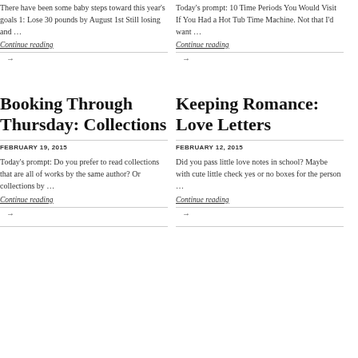There have been some baby steps toward this year's goals 1:  Lose 30 pounds by August 1st Still losing and …
Continue reading
→
Today's prompt: 10 Time Periods You Would Visit If You Had a Hot Tub Time Machine. Not that I'd want …
Continue reading
→
Booking Through Thursday: Collections
FEBRUARY 19, 2015
Today's prompt: Do you prefer to read collections that are all of works by the same author? Or collections by …
Continue reading
→
Keeping Romance: Love Letters
FEBRUARY 12, 2015
Did you pass little love notes in school? Maybe with cute little check yes or no boxes for the person …
Continue reading
→